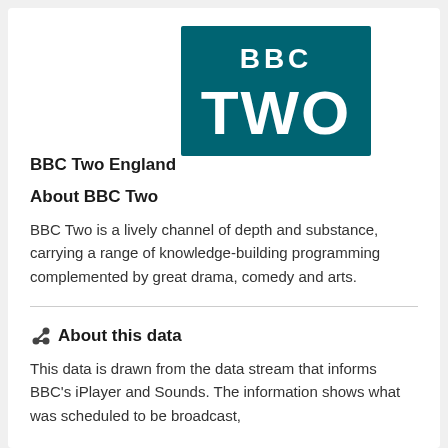BBC Two England
[Figure (logo): BBC Two logo: teal/dark cyan background rectangle with white text 'BBC' in smaller bold serif style on top and 'TWO' in large bold white letters below]
About BBC Two
BBC Two is a lively channel of depth and substance, carrying a range of knowledge-building programming complemented by great drama, comedy and arts.
About this data
This data is drawn from the data stream that informs BBC's iPlayer and Sounds. The information shows what was scheduled to be broadcast,